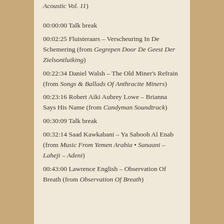Acoustic Vol. 11)
00:00:00 Talk break
00:02:25 Fluisteraars – Verscheuring In De Schemering (from Gegrepen Door De Geest Der Zielsontluiking)
00:22:34 Daniel Walsh – The Old Miner's Refrain (from Songs & Ballads Of Anthracite Miners)
00:23:16 Robert Aiki Aubrey Lowe – Brianna Says His Name (from Candyman Soundtrack)
00:30:09 Talk break
00:32:14 Saad Kawkabani – Ya Sabooh Al Enab (from Music From Yemen Arabia • Sanaani – Laheji – Adeni)
00:43:00 Lawrence English – Observation Of Breath (from Observation Of Breath)